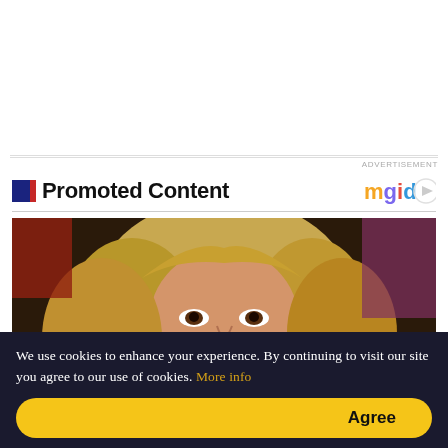[Figure (other): Large white blank advertisement space at the top of the page]
ADVERTISEMENT
Promoted Content
[Figure (logo): mgid logo with play button icon]
[Figure (photo): Close-up photo of a person with long blonde curly hair, looking intensely at the camera. An overlay card in the bottom right shows a thumbnail and text 'Marvel's First On-scr']
We use cookies to enhance your experience. By continuing to visit our site you agree to our use of cookies. More info
Agree